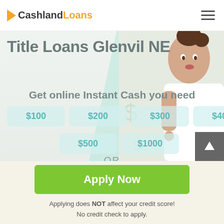CashlandLoans
Title Loans Glenvil NE
Get online Instant Cash you need
$100
$200
$300
$400
$500
$1000
OR
Apply Now
Applying does NOT affect your credit score! No credit check to apply.